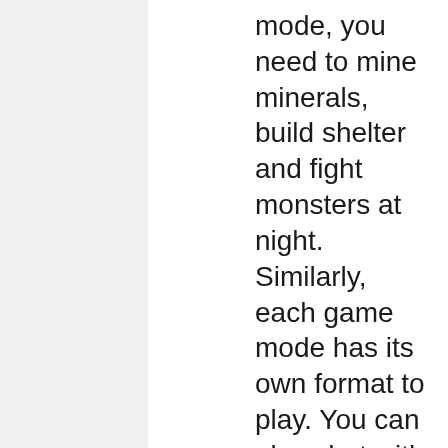mode, you need to mine minerals, build shelter and fight monsters at night. Similarly, each game mode has its own format to play. You can also chat with other players online in this game. Minecraft Offline Installer is packed with several features in it.